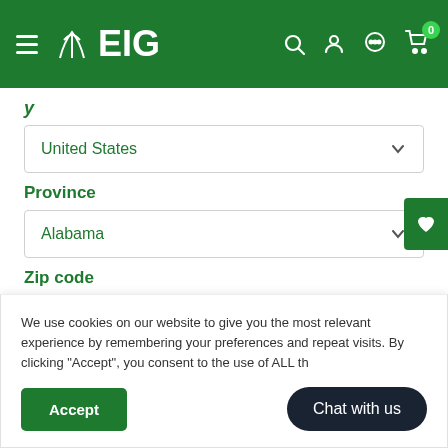EIG navigation header
y (partial label visible)
United States (dropdown)
Province
Alabama (dropdown)
Zip code
We use cookies on our website to give you the most relevant experience by remembering your preferences and repeat visits. By clicking "Accept", you consent to the use of ALL the cookies.
Accept
Chat with us